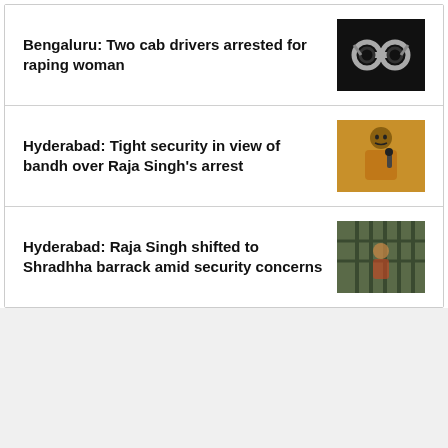Bengaluru: Two cab drivers arrested for raping woman
[Figure (photo): Handcuffs on dark background]
Hyderabad: Tight security in view of bandh over Raja Singh's arrest
[Figure (photo): Man in orange/mustard shirt speaking into microphone]
Hyderabad: Raja Singh shifted to Shradhha barrack amid security concerns
[Figure (photo): Person behind bars or gated structure]